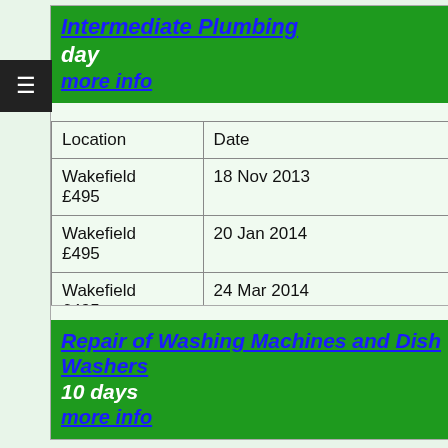Intermediate Plumbing day more info
| Location | Date |
| --- | --- |
| Wakefield
£495 | 18 Nov 2013 |
| Wakefield
£495 | 20 Jan 2014 |
| Wakefield
£495 | 24 Mar 2014 |
Repair of Washing Machines and Dish Washers 10 days more info